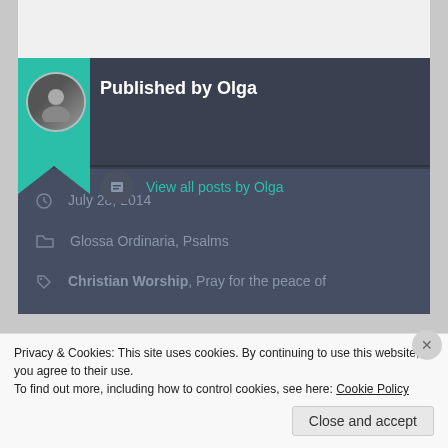Published by Olga
View all posts by Olga
July 28, 2014
Glossa Ordinaria, Psalms
Christian Worship, Pray for the peace of
Privacy & Cookies: This site uses cookies. By continuing to use this website, you agree to their use.
To find out more, including how to control cookies, see here: Cookie Policy
Close and accept